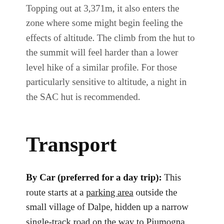Topping out at 3,371m, it also enters the zone where some might begin feeling the effects of altitude. The climb from the hut to the summit will feel harder than a lower level hike of a similar profile. For those particularly sensitive to altitude, a night in the SAC hut is recommended.
Transport
By Car (preferred for a day trip): This route starts at a parking area outside the small village of Dalpe, hidden up a narrow single-track road on the way to Piumogna Bar. Google Maps will get you there – don't be put off by the occasional gate and cows. An asphalt single-track road gives way to a dirt track with concrete grids